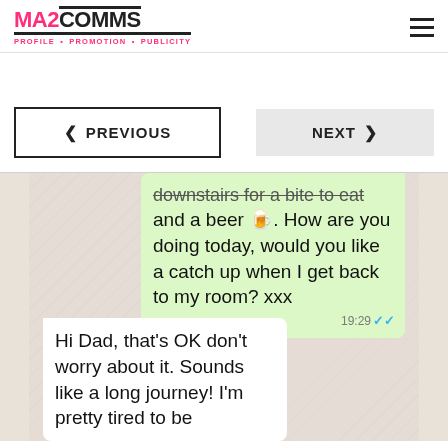MA2COMMS — PROFILE • PROMOTION • PUBLICITY
PREVIOUS
NEXT
[Figure (screenshot): WhatsApp conversation screenshot showing two messages: (1) a sent message (green bubble) reading 'downstairs for a bite to eat and a beer 🍺. How are you doing today, would you like a catch up when I get back to my room? xxx' with timestamp 19:29 and blue double-check marks; (2) a received message (white bubble) reading 'Hi Dad, that's OK don't worry about it. Sounds like a long journey! I'm pretty tired to be']